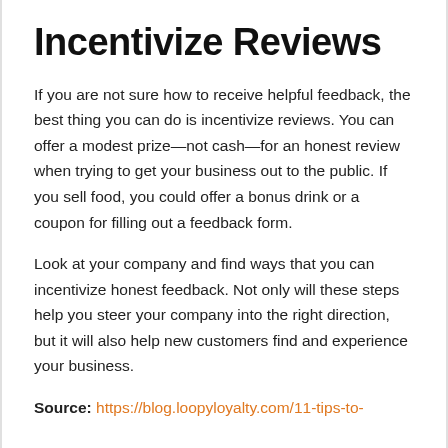Incentivize Reviews
If you are not sure how to receive helpful feedback, the best thing you can do is incentivize reviews. You can offer a modest prize—not cash—for an honest review when trying to get your business out to the public. If you sell food, you could offer a bonus drink or a coupon for filling out a feedback form.
Look at your company and find ways that you can incentivize honest feedback. Not only will these steps help you steer your company into the right direction, but it will also help new customers find and experience your business.
Source: https://blog.loopyloyalty.com/11-tips-to-